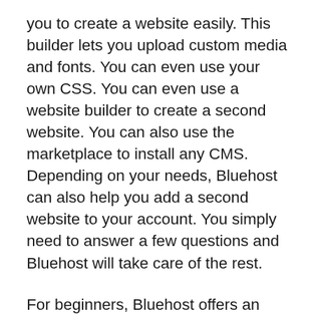you to create a website easily. This builder lets you upload custom media and fonts. You can even use your own CSS. You can even use a website builder to create a second website. You can also use the marketplace to install any CMS. Depending on your needs, Bluehost can also help you add a second website to your account. You simply need to answer a few questions and Bluehost will take care of the rest.
For beginners, Bluehost offers an easy-to-use cPanel. You can install nearly any CMS with just one click. It also supports SSH to create a secure environment. You can choose unlimited databases if you want to add more content. If you are a beginner, a 50GB plan is